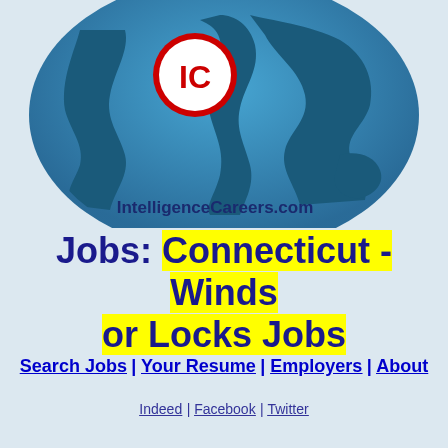[Figure (logo): IntelligenceCareers.com logo with globe and IC badge, site name below]
Jobs: Connecticut - Windsor Locks Jobs
Search Jobs | Your Resume | Employers | About
Indeed | Facebook | Twitter